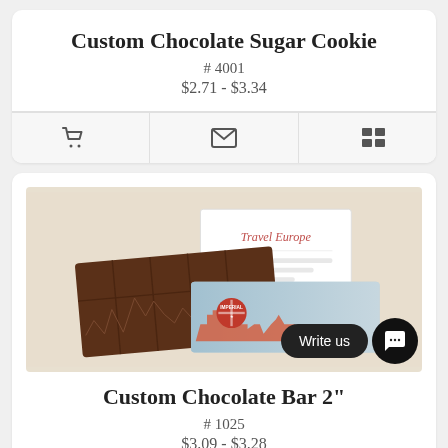Custom Chocolate Sugar Cookie
# 4001
$2.71 - $3.34
[Figure (screenshot): Action bar with three icon buttons: shopping cart, envelope/email, and list/menu icons]
[Figure (photo): Photo of a custom chocolate bar with European cityscape wrapper design and a white card reading 'Travel Europe']
Custom Chocolate Bar 2"
# 1025
$3.09 - $3.28